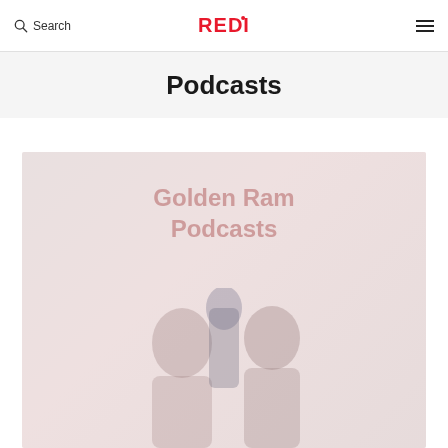Search | REDI | ☰
Podcasts
[Figure (photo): Golden Ram Podcast promotional image showing two people with podcast equipment, faded/washed out appearance with text overlay reading 'Golden Ram Podcasts']